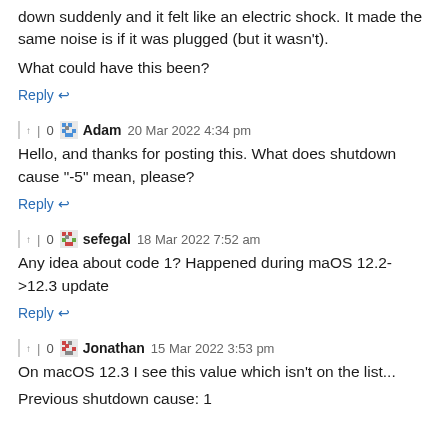down suddenly and it felt like an electric shock. It made the same noise is if it was plugged (but it wasn't).
What could have this been?
Reply ↩
↑ | 0  Adam  20 Mar 2022 4:34 pm
Hello, and thanks for posting this. What does shutdown cause "-5" mean, please?
Reply ↩
↑ | 0  sefegal  18 Mar 2022 7:52 am
Any idea about code 1? Happened during maOS 12.2->12.3 update
Reply ↩
↑ | 0  Jonathan  15 Mar 2022 3:53 pm
On macOS 12.3 I see this value which isn't on the list...
Previous shutdown cause: 1